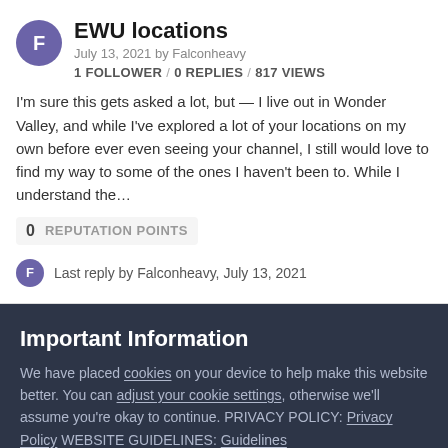EWU locations
July 13, 2021 by Falconheavy
1 FOLLOWER / 0 REPLIES / 817 VIEWS
I'm sure this gets asked a lot, but — I live out in Wonder Valley, and while I've explored a lot of your locations on my own before ever even seeing your channel, I still would love to find my way to some of the ones I haven't been to. While I understand the...
0 REPUTATION POINTS
Last reply by Falconheavy, July 13, 2021
Important Information
We have placed cookies on your device to help make this website better. You can adjust your cookie settings, otherwise we'll assume you're okay to continue. PRIVACY POLICY: Privacy Policy WEBSITE GUIDELINES: Guidelines
✓ I accept